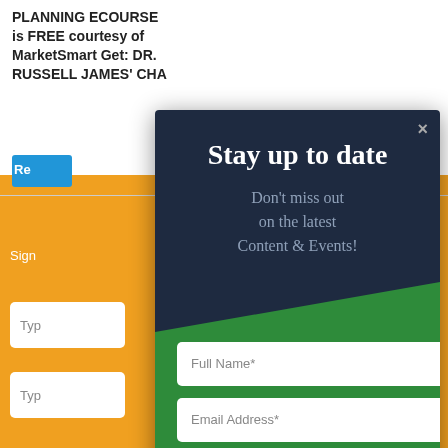PLANNING ECOURSE is FREE courtesy of MarketSmart Get: DR. RUSSELL JAMES' CHA
[Figure (screenshot): Partial background page showing white area with bold text about PLANNING ECOURSE, a blue button, orange strip, partial form inputs, and a Sign text with an X close button on orange background]
[Figure (screenshot): Modal popup overlay with dark navy blue top section containing white title 'Stay up to date' and gray subtitle 'Don't miss out on the latest Content & Events!', a green bottom section with a Full Name text input, an Email Address text input, and a black SUBSCRIBE button with envelope icon. An X close button in top right corner.]